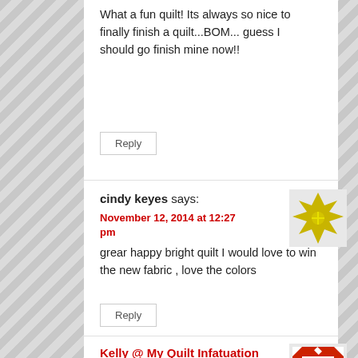What a fun quilt! Its always so nice to finally finish a quilt...BOM... guess I should go finish mine now!!
Reply
cindy keyes says:
November 12, 2014 at 12:27 pm
grear happy bright quilt I would love to win the new fabric , love the colors
Reply
Kelly @ My Quilt Infatuation says:
November 12, 2014 at 2:50 pm
eek!! LOVE the Carnaby Street! Your